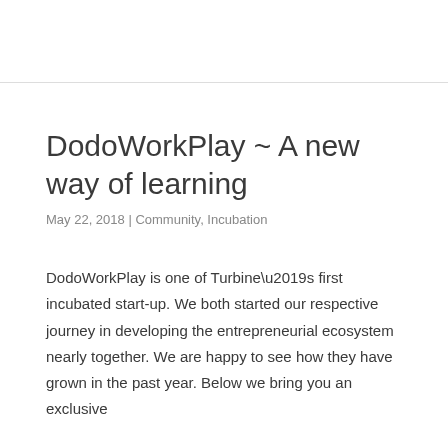DodoWorkPlay ~ A new way of learning
May 22, 2018 | Community, Incubation
DodoWorkPlay is one of Turbine’s first incubated start-up. We both started our respective journey in developing the entrepreneurial ecosystem nearly together. We are happy to see how they have grown in the past year. Below we bring you an exclusive